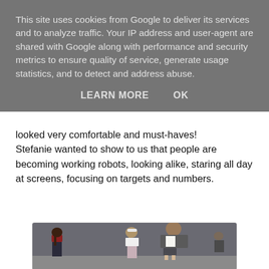This site uses cookies from Google to deliver its services and to analyze traffic. Your IP address and user-agent are shared with Google along with performance and security metrics to ensure quality of service, generate usage statistics, and to detect and address abuse.
LEARN MORE    OK
looked very comfortable and must-haves! Stefanie wanted to show to us that people are becoming working robots, looking alike, staring all day at screens, focusing on targets and numbers.
[Figure (photo): Fashion runway photograph showing three female models wearing minimalist outfits in gray and white tones, walking on a runway.]